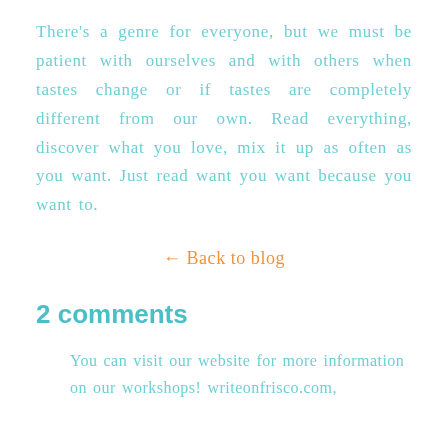There's a genre for everyone, but we must be patient with ourselves and with others when tastes change or if tastes are completely different from our own. Read everything, discover what you love, mix it up as often as you want. Just read want you want because you want to.
← Back to blog
2 comments
You can visit our website for more information on our workshops! writeonfrisco.com,